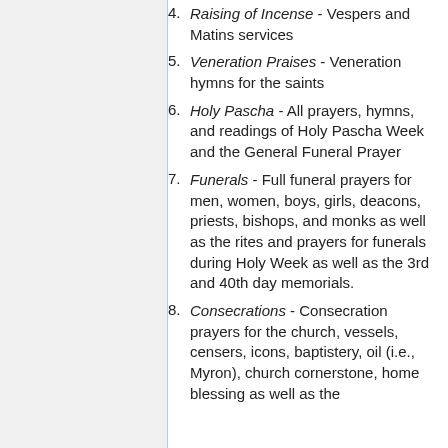4. Raising of Incense - Vespers and Matins services
5. Veneration Praises - Veneration hymns for the saints
6. Holy Pascha - All prayers, hymns, and readings of Holy Pascha Week and the General Funeral Prayer
7. Funerals - Full funeral prayers for men, women, boys, girls, deacons, priests, bishops, and monks as well as the rites and prayers for funerals during Holy Week as well as the 3rd and 40th day memorials.
8. Consecrations - Consecration prayers for the church, vessels, censers, icons, baptistery, oil (i.e., Myron), church cornerstone, home blessing as well as the